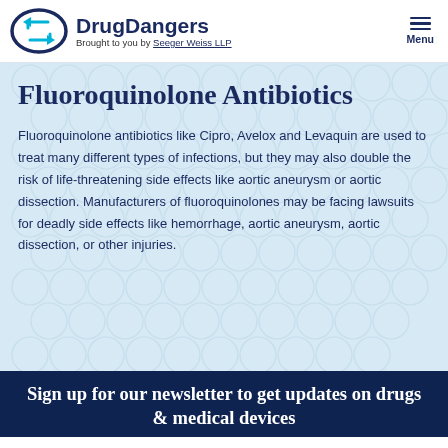DrugDangers — Brought to you by Seeger Weiss LLP
Fluoroquinolone Antibiotics
Fluoroquinolone antibiotics like Cipro, Avelox and Levaquin are used to treat many different types of infections, but they may also double the risk of life-threatening side effects like aortic aneurysm or aortic dissection. Manufacturers of fluoroquinolones may be facing lawsuits for deadly side effects like hemorrhage, aortic aneurysm, aortic dissection, or other injuries.
Sign up for our newsletter to get updates on drugs & medical devices